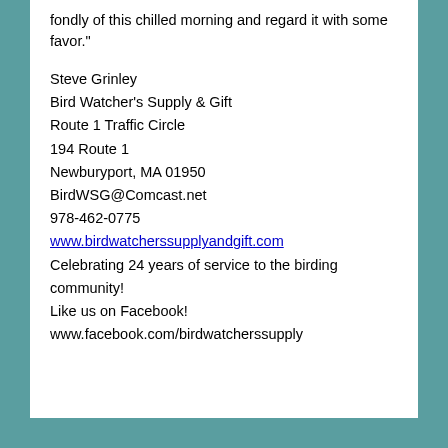fondly of this chilled morning and regard it with some favor."
Steve Grinley
Bird Watcher's Supply & Gift
Route 1 Traffic Circle
194 Route 1
Newburyport, MA 01950
BirdWSG@Comcast.net
978-462-0775
www.birdwatcherssupplyandgift.com
Celebrating 24 years of service to the birding community!
Like us on Facebook! www.facebook.com/birdwatcherssupply